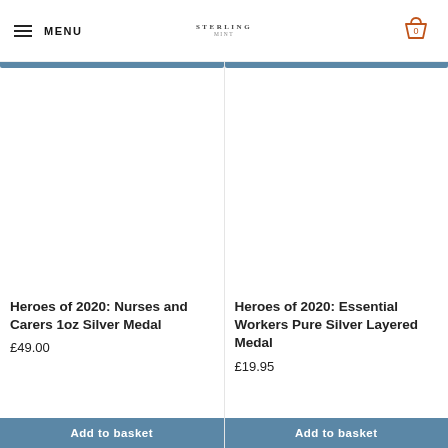MENU | Sterling Mint logo | Basket: 0
[Figure (photo): Product image area for Heroes of 2020: Nurses and Carers 1oz Silver Medal — white background with blue bar at top]
Heroes of 2020: Nurses and Carers 1oz Silver Medal
£49.00
Add to basket
[Figure (photo): Product image area for Heroes of 2020: Essential Workers Pure Silver Layered Medal — white background with blue bar at top]
Heroes of 2020: Essential Workers Pure Silver Layered Medal
£19.95
Add to basket